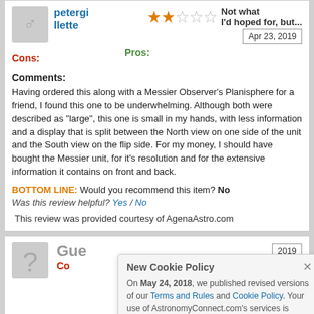petergrillette
[Figure (other): 2-star rating out of 5 stars (orange filled stars)]
Not what I'd hoped for, but...
Apr 23, 2019
Pros:
Cons:
Comments:
Having ordered this along with a Messier Observer's Planisphere for a friend, I found this one to be underwhelming. Although both were described as "large", this one is small in my hands, with less information and a display that is split between the North view on one side of the unit and the South view on the flip side. For my money, I should have bought the Messier unit, for it's resolution and for the extensive information it contains on front and back.
BOTTOM LINE: Would you recommend this item? No
Was this review helpful? Yes / No
This review was provided courtesy of AgenaAstro.com
Gue
Co
New Cookie Policy
On May 24, 2018, we published revised versions of our Terms and Rules and Cookie Policy. Your use of AstronomyConnect.com's services is subject to these revised terms.